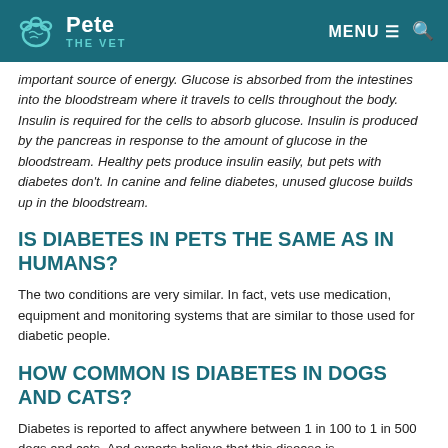Pete THE VET — MENU 🔍
important source of energy. Glucose is absorbed from the intestines into the bloodstream where it travels to cells throughout the body. Insulin is required for the cells to absorb glucose. Insulin is produced by the pancreas in response to the amount of glucose in the bloodstream. Healthy pets produce insulin easily, but pets with diabetes don't. In canine and feline diabetes, unused glucose builds up in the bloodstream.
IS DIABETES IN PETS THE SAME AS IN HUMANS?
The two conditions are very similar. In fact, vets use medication, equipment and monitoring systems that are similar to those used for diabetic people.
HOW COMMON IS DIABETES IN DOGS AND CATS?
Diabetes is reported to affect anywhere between 1 in 100 to 1 in 500 dogs and cats. And experts believe that this disease is